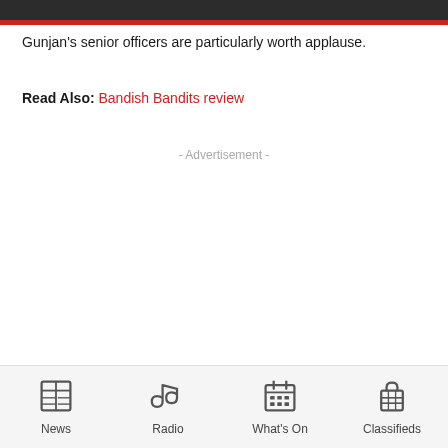Gunjan's senior officers are particularly worth applause.
Read Also: Bandish Bandits review
- Advertisement -
News | Radio | What's On | Classifieds